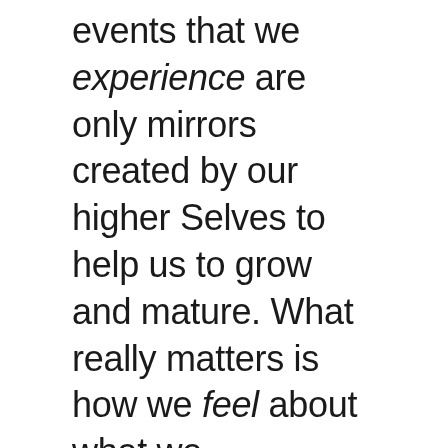events that we experience are only mirrors created by our higher Selves to help us to grow and mature. What really matters is how we feel about what we experience and it is our feelings that will travel with us when we leave the physical plane. In one of her character sketches, the question arises: What do you remember 10 or 20 years on, after a significant event? Do you remember the event or do you